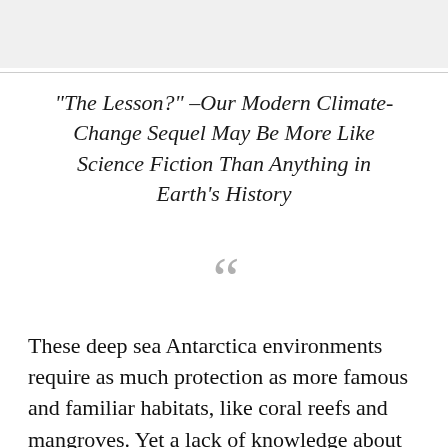[Figure (photo): Gray/light image area at the top of the page, likely a photograph or illustration partially visible]
“The Lesson?” –Our Modern Climate-Change Sequel May Be More Like Science Fiction Than Anything in Earth’s History
[Figure (illustration): Large decorative opening quotation mark (“) in gray]
These deep sea Antarctica environments require as much protection as more famous and familiar habitats, like coral reefs and mangroves. Yet a lack of knowledge about marine life in these dark waters has made it